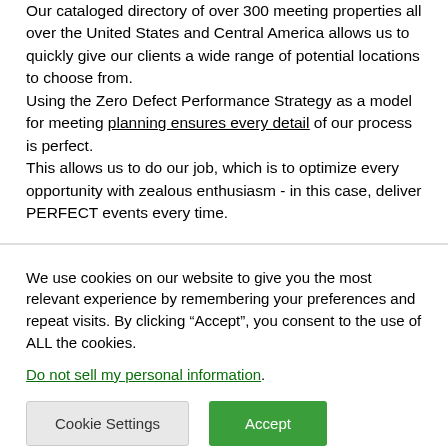Our cataloged directory of over 300 meeting properties all over the United States and Central America allows us to quickly give our clients a wide range of potential locations to choose from. Using the Zero Defect Performance Strategy as a model for meeting planning ensures every detail of our process is perfect. This allows us to do our job, which is to optimize every opportunity with zealous enthusiasm - in this case, deliver PERFECT events every time.
We use cookies on our website to give you the most relevant experience by remembering your preferences and repeat visits. By clicking “Accept”, you consent to the use of ALL the cookies.
Do not sell my personal information.